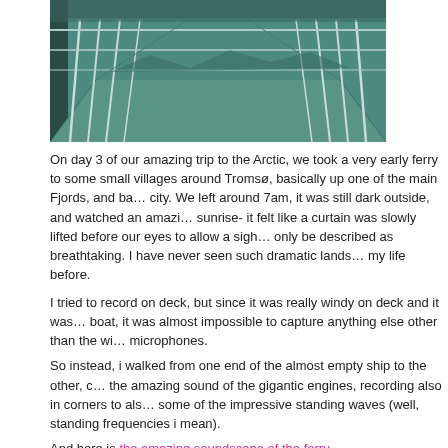[Figure (photo): Photo of a ferry deck with metal railings and green-tinted overcast sky, view down the deck corridor]
On day 3 of our amazing trip to the Arctic, we took a very early ferry to some small villages around Tromsø, basically up one of the main Fjords, and back to the city. We left around 7am, it was still dark outside, and watched an amazing sunrise- it felt like a curtain was slowly lifted before our eyes to allow a sight that can only be described as breathtaking. I have never seen such dramatic landscapes in my life before.
I tried to record on deck, but since it was really windy on deck and it was a big boat, it was almost impossible to capture anything else other than the wind in the microphones.
So instead, i walked from one end of the almost empty ship to the other, capturing the amazing sound of the gigantic engines, recording also in corners to also capture some of the impressive standing waves (well, standing frequencies i mean).
And here is the amazing soundscape of the ferry…
For a whole set of pictures, go to Ronni Shendar's photo blog.
[Figure (photo): Bottom portion of another ferry or boat photo, teal/green toned]